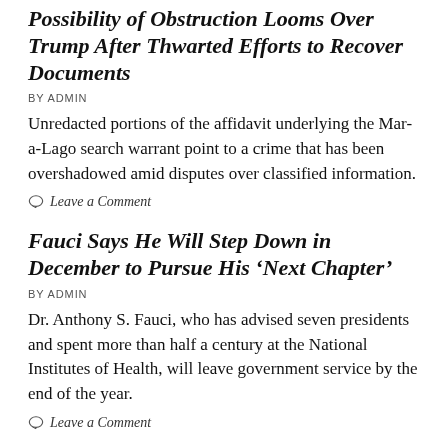Possibility of Obstruction Looms Over Trump After Thwarted Efforts to Recover Documents
BY ADMIN
Unredacted portions of the affidavit underlying the Mar-a-Lago search warrant point to a crime that has been overshadowed amid disputes over classified information.
Leave a Comment
Fauci Says He Will Step Down in December to Pursue His ‘Next Chapter’
BY ADMIN
Dr. Anthony S. Fauci, who has advised seven presidents and spent more than half a century at the National Institutes of Health, will leave government service by the end of the year.
Leave a Comment
‘Go Get Your Bathing Suits’: Biden Takes a